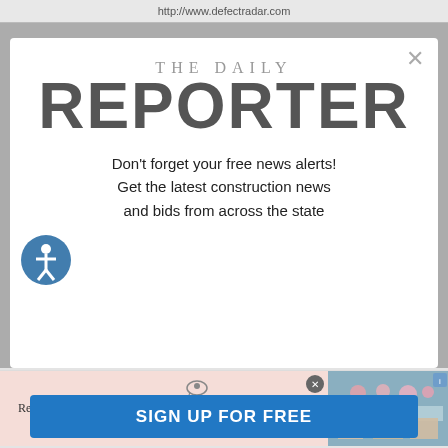http://www.defectradar.com
THE DAILY REPORTER
Don't forget your free news alerts! Get the latest construction news and bids from across the state
[Figure (infographic): Hotel Greystone advertisement banner: 'Receive up to 20% Savings' with martini glass logo and hotel photo]
SIGN UP FOR FREE